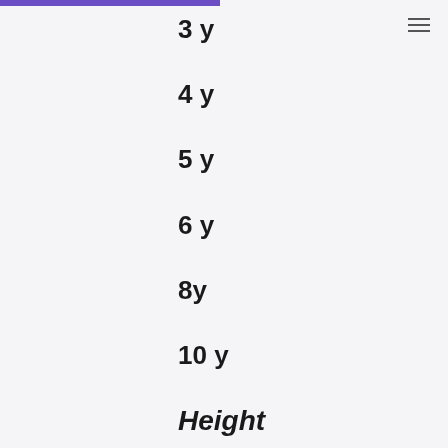3 y
4 y
5 y
6 y
8y
10 y
Height
98 cm